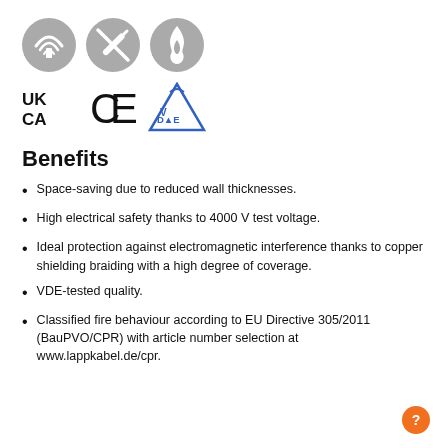[Figure (infographic): Three grey circular icons: signal/wireless, no-needle/syringe crossed out, and flame/fire icons representing cable properties]
[Figure (logo): UKCA mark, CE mark, and DVE triangle certification logos]
Benefits
Space-saving due to reduced wall thicknesses.
High electrical safety thanks to 4000 V test voltage.
Ideal protection against electromagnetic interference thanks to copper shielding braiding with a high degree of coverage.
VDE-tested quality.
Classified fire behaviour according to EU Directive 305/2011 (BauPVO/CPR) with article number selection at www.lappkabel.de/cpr.